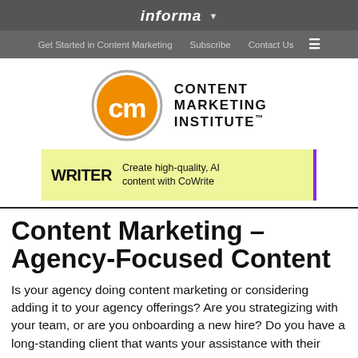informa
Get Started in Content Marketing   Subscribe   Contact Us
[Figure (logo): Content Marketing Institute logo: orange circle with white 'cm' letters, beside bold text 'CONTENT MARKETING INSTITUTE']
[Figure (other): Ad banner with yellow-green background: 'WRITER Create high-quality, AI content with CoWrite']
Content Marketing – Agency-Focused Content
Is your agency doing content marketing or considering adding it to your agency offerings? Are you strategizing with your team, or are you onboarding a new hire? Do you have a long-standing client that wants your assistance with their